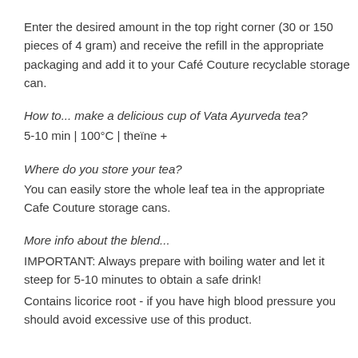Enter the desired amount in the top right corner (30 or 150 pieces of 4 gram) and receive the refill in the appropriate packaging and add it to your Café Couture recyclable storage can.
How to... make a delicious cup of Vata Ayurveda tea?
5-10 min | 100°C | theïne +
Where do you store your tea?
You can easily store the whole leaf tea in the appropriate Cafe Couture storage cans.
More info about the blend...
IMPORTANT: Always prepare with boiling water and let it steep for 5-10 minutes to obtain a safe drink!
Contains licorice root - if you have high blood pressure you should avoid excessive use of this product.